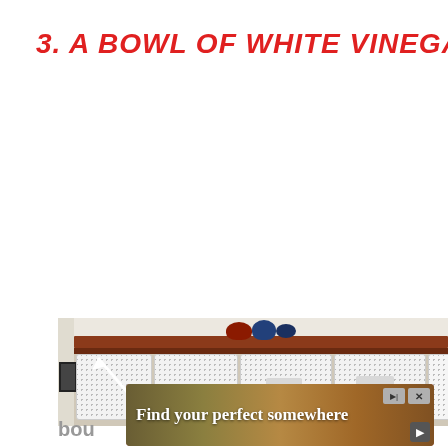3. A BOWL OF WHITE VINEGAR
[Figure (photo): Photo of an organized shelf or cabinet with white perforated storage bins, a brown wooden bar/rail, and some round objects (balls/caps) on top. A white arrow points upward toward the top of the shelf. Partial text 'bou' visible at bottom left.]
[Figure (infographic): Advertisement banner with red background showing text 'Find your perfect somewhere' with a landscape/travel photo background, skip and close buttons, and a replay button.]